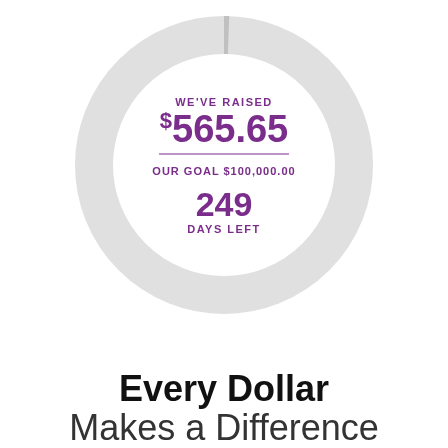[Figure (donut-chart): A large light gray donut/ring chart (nearly empty, representing $565.65 raised out of $100,000.00 goal). Inside the ring: 'WE'VE RAISED', '$565.65', a purple divider line, 'OUR GOAL $100,000.00', '249', 'DAYS LEFT'.]
Every Dollar
Makes a Difference